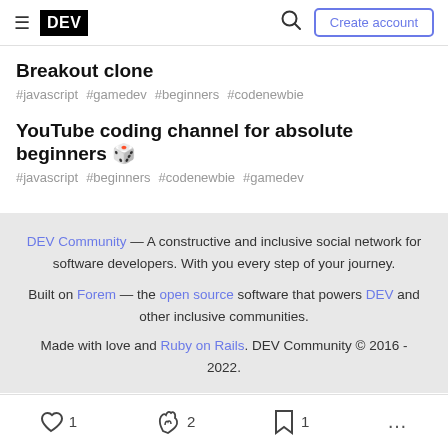DEV — navigation header with hamburger, DEV logo, search icon, Create account button
Breakout clone
#javascript #gamedev #beginners #codenewbie
YouTube coding channel for absolute beginners 🎮
#javascript #beginners #codenewbie #gamedev
DEV Community — A constructive and inclusive social network for software developers. With you every step of your journey. Built on Forem — the open source software that powers DEV and other inclusive communities. Made with love and Ruby on Rails. DEV Community © 2016 - 2022.
❤ 1   🔥 2   🔖 1   ...